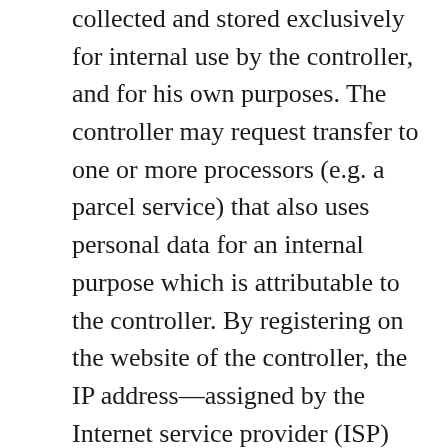collected and stored exclusively for internal use by the controller, and for his own purposes. The controller may request transfer to one or more processors (e.g. a parcel service) that also uses personal data for an internal purpose which is attributable to the controller. By registering on the website of the controller, the IP address—assigned by the Internet service provider (ISP) and used by the data subject—date, and time of the registration are also stored. The storage of this data takes place against the background that this is the only way to prevent the misuse of our services, and, if necessary, to make it possible to investigate committed offenses. Insofar, the storage of this data is necessary to secure the controller. This data is not passed on to third parties unless there is a statutory obligation to